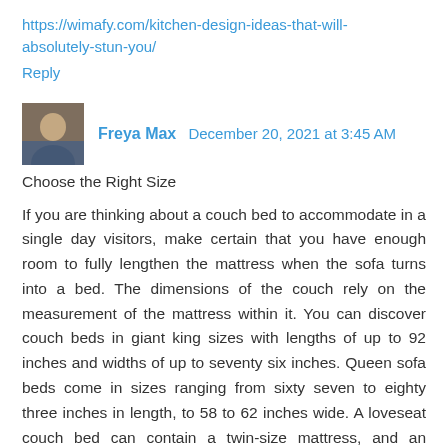https://wimafy.com/kitchen-design-ideas-that-will-absolutely-stun-you/
Reply
Freya Max  December 20, 2021 at 3:45 AM
Choose the Right Size
If you are thinking about a couch bed to accommodate in a single day visitors, make certain that you have enough room to fully lengthen the mattress when the sofa turns into a bed. The dimensions of the couch rely on the measurement of the mattress within it. You can discover couch beds in giant king sizes with lengths of up to 92 inches and widths of up to seventy six inches. Queen sofa beds come in sizes ranging from sixty seven to eighty three inches in length, to 58 to 62 inches wide. A loveseat couch bed can contain a twin-size mattress, and an ottoman can also provide a smaller mattress for your guests.
https://wimafy.com/kitchen-design-ideas-that-will-absolutely-stun-you/